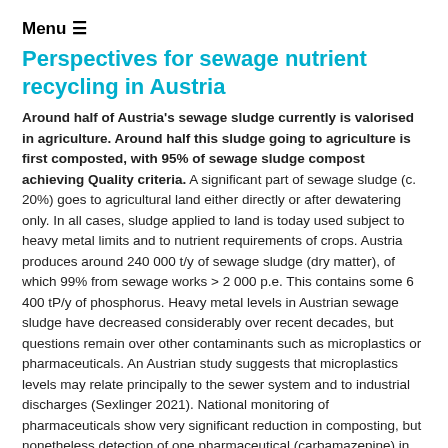Menu ☰
Perspectives for sewage nutrient recycling in Austria
Around half of Austria's sewage sludge currently is valorised in agriculture. Around half this sludge going to agriculture is first composted, with 95% of sewage sludge compost achieving Quality criteria. A significant part of sewage sludge (c. 20%) goes to agricultural land either directly or after dewatering only. In all cases, sludge applied to land is today used subject to heavy metal limits and to nutrient requirements of crops. Austria produces around 240 000 t/y of sewage sludge (dry matter), of which 99% from sewage works > 2 000 p.e. This contains some 6 400 tP/y of phosphorus. Heavy metal levels in Austrian sewage sludge have decreased considerably over recent decades, but questions remain over other contaminants such as microplastics or pharmaceuticals. An Austrian study suggests that microplastics levels may relate principally to the sewer system and to industrial discharges (Sexlinger 2021). National monitoring of pharmaceuticals show very significant reduction in composting, but nonetheless detection of one pharmaceutical (carbamazepine) in soil